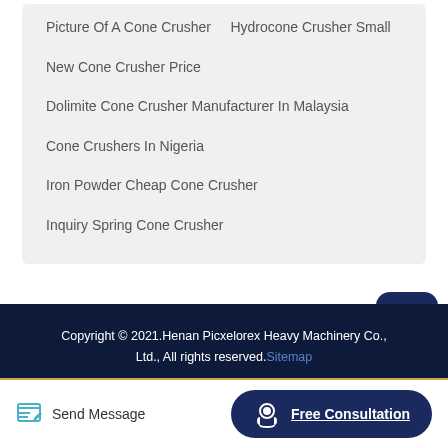Picture Of A Cone Crusher    Hydrocone Crusher Small
New Cone Crusher Price
Dolimite Cone Crusher Manufacturer In Malaysia
Cone Crushers In Nigeria
Iron Powder Cheap Cone Crusher
Inquiry Spring Cone Crusher
Copyright © 2021.Henan Picxelorex Heavy Machinery Co., Ltd., All rights reserved. Sitemap
Send Message
Free Consultation